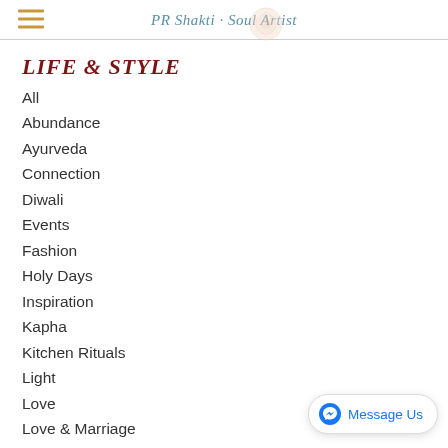PR Shakti · Soul Artist
LIFE & STYLE
All
Abundance
Ayurveda
Connection
Diwali
Events
Fashion
Holy Days
Inspiration
Kapha
Kitchen Rituals
Light
Love
Love & Marriage
Moon
Motherhood (partial)